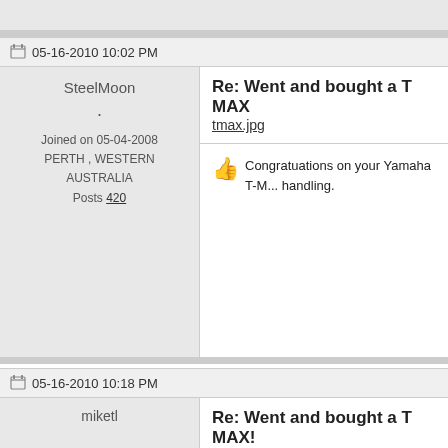05-16-2010 10:02 PM
SteelMoon
.
Joined on 05-04-2008
PERTH , WESTERN AUSTRALIA
Posts 420
Re: Went and bought a T MAX
tmax.jpg
👍 Congratuations on your Yamaha T-M... handling.
05-16-2010 10:18 PM
miketl
Re: Went and bought a T MAX!